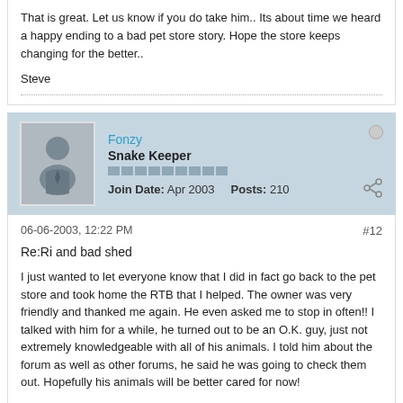That is great. Let us know if you do take him.. Its about time we heard a happy ending to a bad pet store story. Hope the store keeps changing for the better..
Steve
Fonzy
Snake Keeper
Join Date: Apr 2003   Posts: 210
06-06-2003, 12:22 PM
#12
Re:Ri and bad shed
I just wanted to let everyone know that I did in fact go back to the pet store and took home the RTB that I helped. The owner was very friendly and thanked me again. He even asked me to stop in often!! I talked with him for a while, he turned out to be an O.K. guy, just not extremely knowledgeable with all of his animals. I told him about the forum as well as other forums, he said he was going to check them out. Hopefully his animals will be better cared for now!
Jeff